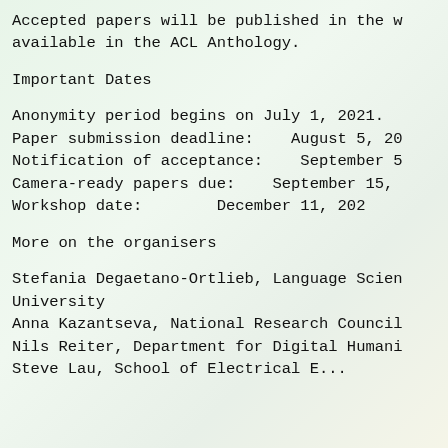Accepted papers will be published in the w available in the ACL Anthology.
Important Dates
Anonymity period begins on July 1, 2021.
Paper submission deadline:    August 5, 20
Notification of acceptance:    September 5
Camera-ready papers due:    September 15,
Workshop date:          December 11, 202
More on the organisers
Stefania Degaetano-Ortlieb, Language Scien University
Anna Kazantseva, National Research Council
Nils Reiter, Department for Digital Humani
Steve Lau, School of Electrical E...